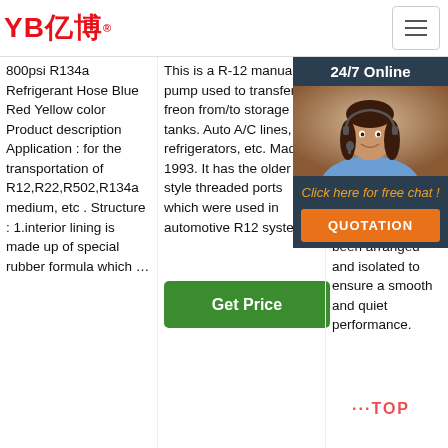[Figure (logo): YB亿博 logo in red with registered trademark symbol]
800psi R134a Refrigerant Hose Blue Red Yellow color Product description Application : for the transportation of R12,R22,R502,R134a medium, etc . Structure : 1.interior lining is made up of special rubber formula which …
This is a R-12 manual pump used to transfer freon from/to storage tanks. Auto A/C lines, refrigerators, etc. Made in 1993. It has the older style threaded ports which were used in automotive R12 systems.
A/C Recovery System ... recovery ... remove refrigerant system to meet and light work refrigerant the compressor A/C Recovery System have been arranged and isolated to ensure a smooth and quiet performance.
[Figure (infographic): 24/7 Online chat widget with customer service representative photo, 'Click here for free chat!' text, and orange QUOTATION button]
Get Price
Get Price